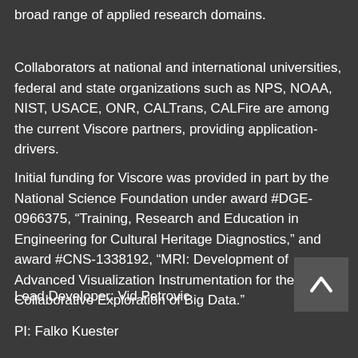broad range of applied research domains.
Collaborators at national and international universities, federal and state organizations such as NPS, NOAA, NIST, USACE, ONR, CALTrans, CALFire are among the current Viscore partners, providing application-drivers.
Initial funding for Viscore was provided in part by the National Science Foundation under award #DGE-0966375, “Training, Research and Education in Engineering for Cultural Heritage Diagnostics,” and award #CNS-1338192, “MRI: Development of Advanced Visualization Instrumentation for the Collaborative Exploration of Big Data.”
Lead Developer: Vid Petrovic
PI: Falko Kuester